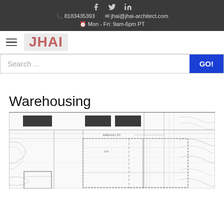8183435393 | jhai@jhai-architect.com | Mon - Fri: 9am-6pm PT
[Figure (logo): JHAI architect logo with hamburger menu icon]
Search ...
Warehousing
[Figure (engineering-diagram): Architectural/site plan drawing showing a warehousing project with topographic lines, building footprints, and street labels including '6480v101 ST.']